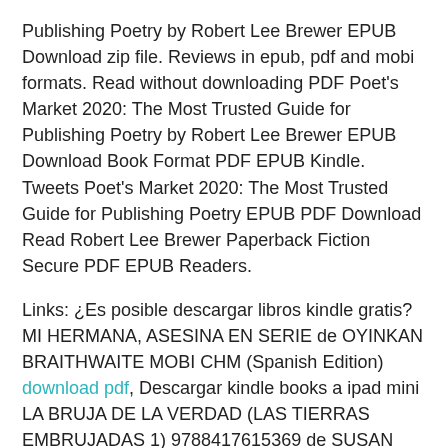Publishing Poetry by Robert Lee Brewer EPUB Download zip file. Reviews in epub, pdf and mobi formats. Read without downloading PDF Poet's Market 2020: The Most Trusted Guide for Publishing Poetry by Robert Lee Brewer EPUB Download Book Format PDF EPUB Kindle. Tweets Poet's Market 2020: The Most Trusted Guide for Publishing Poetry EPUB PDF Download Read Robert Lee Brewer Paperback Fiction Secure PDF EPUB Readers.
Links: ¿Es posible descargar libros kindle gratis? MI HERMANA, ASESINA EN SERIE de OYINKAN BRAITHWAITE MOBI CHM (Spanish Edition) download pdf, Descargar kindle books a ipad mini LA BRUJA DE LA VERDAD (LAS TIERRAS EMBRUJADAS 1) 9788417615369 de SUSAN DENNARD (Literatura española) pdf, Leer animorphs libros en línea gratis sin descarga LAURA LLEGA AL FINAL DEL CAMINO (LAURA VA A POR TODAS 2) (Literatura española) 9788466336970 download link,